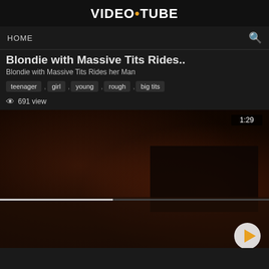VIDEO•TUBE
HOME
Blondie with Massive Tits Rides..
Blondie with Massive Tits Rides her Man
teenager , girl , young , rough , big tits
691 view
[Figure (screenshot): Video thumbnail showing a dark reddish-brown scene with a video progress bar at 42% and a play button in the bottom right. Duration shown as 1:29.]